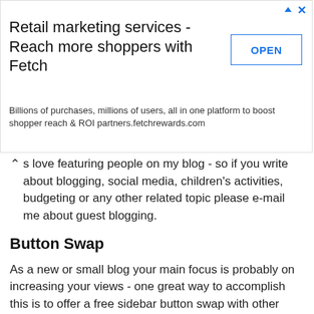[Figure (other): Advertisement banner for Fetch retail marketing services with an OPEN button]
s love featuring people on my blog - so if you write about blogging, social media, children's activities, budgeting or any other related topic please e-mail me about guest blogging.
Button Swap
As a new or small blog your main focus is probably on increasing your views - one great way to accomplish this is to offer a free sidebar button swap with other blogs. You can advertise this on your media kit page - and/or a button in your sidebar.
For instance I am currently offering one sidebar button swap with another blog (of somewhat similar size).
You will want to create a square button incorporating your